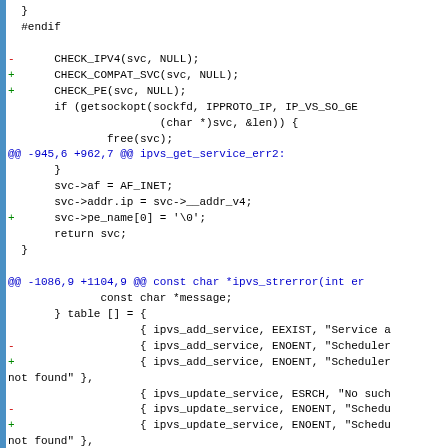Diff/patch code showing changes to ipvs service functions including CHECK_IPV4, CHECK_COMPAT_SVC, CHECK_PE, getsockopt calls, svc field assignments, and ipvs_strerror table entries.